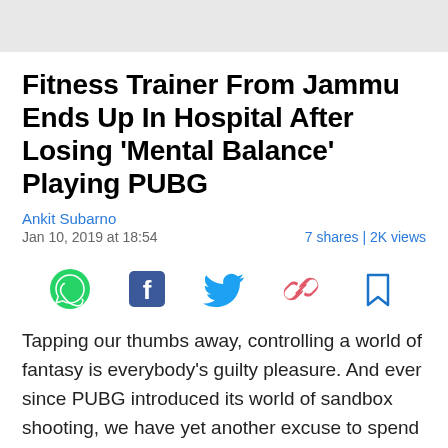Fitness Trainer From Jammu Ends Up In Hospital After Losing 'Mental Balance' Playing PUBG
Ankit Subarno
Jan 10, 2019 at 18:54
7 shares | 2K views
[Figure (infographic): Social share icons: WhatsApp (green), Facebook (dark blue), Twitter (blue), Link/chain (pink-red), Bookmark (blue outline)]
Tapping our thumbs away, controlling a world of fantasy is everybody's guilty pleasure. And ever since PUBG introduced its world of sandbox shooting, we have yet another excuse to spend hours into getting that infamous chicken dinner